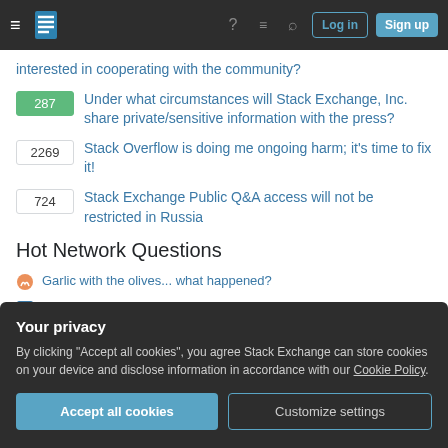Stack Exchange navigation bar with Log in and Sign up buttons
interested in cooperating with the community?
287 Under what circumstances will Stack Exchange, Inc. share private/sensitive information with the press?
2269 Stack Overflow is doing me ongoing harm; it's time to fix it!
724 Stack Exchange Public Q&A access will not be restricted in Russia
Hot Network Questions
Garlic with the olives... what happened?
Is Dark Matter possible if there is dynamical friction?
Your privacy
By clicking "Accept all cookies", you agree Stack Exchange can store cookies on your device and disclose information in accordance with our Cookie Policy.
Accept all cookies | Customize settings